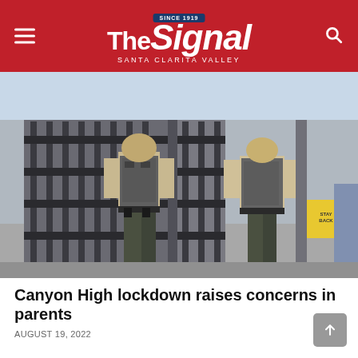The Signal — Santa Clarita Valley
[Figure (photo): Two law enforcement officers in uniform and tactical vests standing at a school gate with metal bars, viewed from behind]
Canyon High lockdown raises concerns in parents
AUGUST 19, 2022